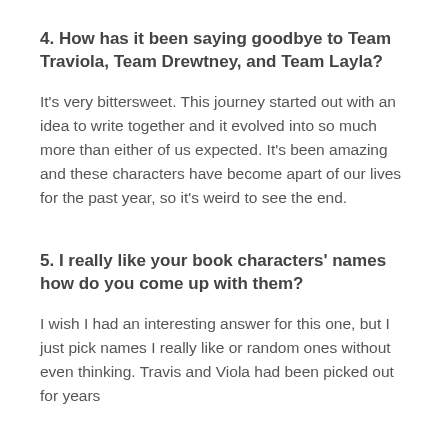4. How has it been saying goodbye to Team Traviola, Team Drewtney, and Team Layla?
It's very bittersweet. This journey started out with an idea to write together and it evolved into so much more than either of us expected. It's been amazing and these characters have become apart of our lives for the past year, so it's weird to see the end.
5. I really like your book characters' names how do you come up with them?
I wish I had an interesting answer for this one, but I just pick names I really like or random ones without even thinking. Travis and Viola had been picked out for years